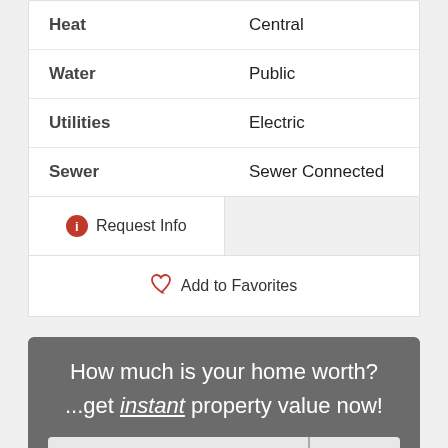| Property | Value |
| --- | --- |
| Heat | Central |
| Water | Public |
| Utilities | Electric |
| Sewer | Sewer Connected |
Request Info
Add to Favorites
How much is your home worth? ...get instant property value now!
e.g. 148 Kaelepulu Dr., Kailua, HI, 967
Unit #